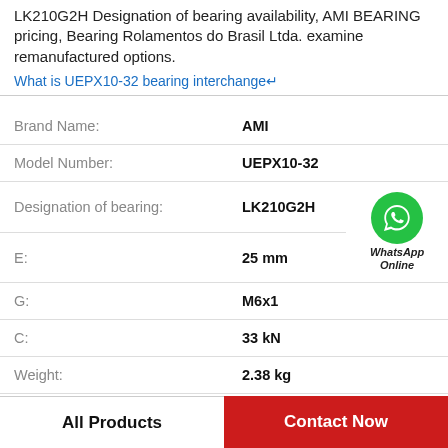LK210G2H Designation of bearing availability, AMI BEARING pricing, Bearing Rolamentos do Brasil Ltda. examine remanufactured options.
What is UEPX10-32 bearing interchange↵
| Attribute | Value |
| --- | --- |
| Brand Name: | AMI |
| Model Number: | UEPX10-32 |
| Designation of bearing: | LK210G2H |
| E: | 25 mm |
| G: | M6x1 |
| C: | 33 kN |
| Weight: | 2.38 kg |
[Figure (logo): WhatsApp Online contact button with green phone icon circle and italic label 'WhatsApp Online']
All Products
Contact Now